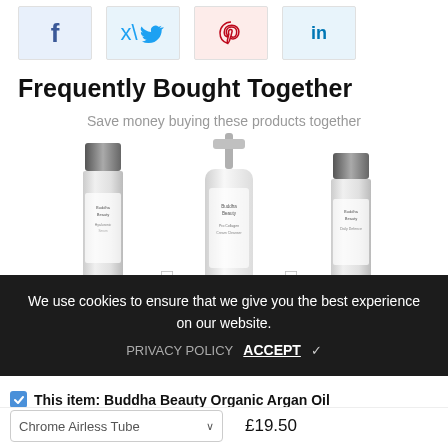[Figure (other): Social sharing buttons row: Facebook (f), Twitter (bird), Pinterest (P), LinkedIn (in)]
Frequently Bought Together
Save money buying these products together
[Figure (photo): Three Buddha Beauty skincare product bottles shown together with plus signs between them]
Total price: £49.05  £54.50
ADD SELECTED TO CART
We use cookies to ensure that we give you the best experience on our website.
PRIVACY POLICY   ACCEPT ✓
This item: Buddha Beauty Organic Argan Oil
Chrome Airless Tube   £19.50